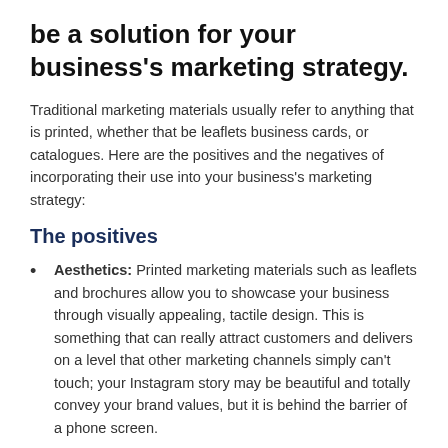be a solution for your business's marketing strategy.
Traditional marketing materials usually refer to anything that is printed, whether that be leaflets business cards, or catalogues. Here are the positives and the negatives of incorporating their use into your business's marketing strategy:
The positives
Aesthetics: Printed marketing materials such as leaflets and brochures allow you to showcase your business through visually appealing, tactile design. This is something that can really attract customers and delivers on a level that other marketing channels simply can't touch; your Instagram story may be beautiful and totally convey your brand values, but it is behind the barrier of a phone screen.
Recall: Research has shown that printed marketing materials are more likely to stick in somebody's